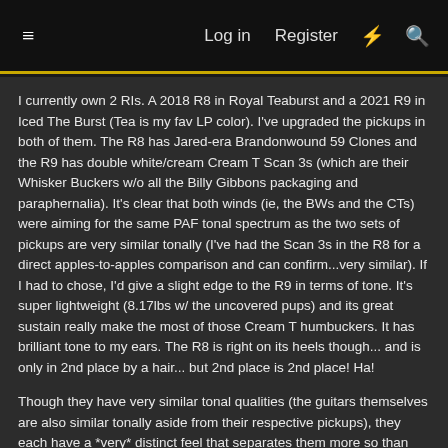≡  Log in  Register  ⚡  🔍
I currently own 2 RIs. A 2018 R8 in Royal Teaburst and a 2021 R9 in Iced The Burst (Tea is my fav LP color). I've upgraded the pickups in both of them. The R8 has Jared-era Brandonwound 59 Clones and the R9 has double white/cream Cream T Scan 3s (which are their Whisker Buckers w/o all the Billy Gibbons packaging and paraphernalia). It's clear that both winds (ie, the BWs and the CTs) were aiming for the same PAF tonal spectrum as the two sets of pickups are very similar tonally (I've had the Scan 3s in the R8 for a direct apples-to-apples comparison and can confirm...very similar). If I had to chose, I'd give a slight edge to the R9 in terms of tone. It's super lightweight (8.17lbs w/ the uncovered pups) and its great sustain really make the most of those Cream T humbuckers. It has brilliant tone to my ears. The R8 is right on its heels though... and is only in 2nd place by a hair... but 2nd place is 2nd place! Ha!
Though they have very similar tonal qualities (the guitars themselves are also similar tonally aside from their respective pickups), they each have a *very* distinct feel that separates them more so than